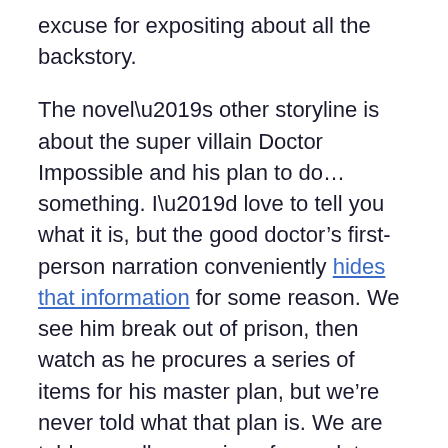excuse for expositing about all the backstory.
The novel’s other storyline is about the super villain Doctor Impossible and his plan to do… something. I’d love to tell you what it is, but the good doctor’s first-person narration conveniently hides that information for some reason. We see him break out of prison, then watch as he procures a series of items for his master plan, but we’re never told what that plan is. We are told an endless series of anecdotes about Impossible’s backstory, but nothing about his goals in the present.
I do not understand why the narrative withholds this critical bit of info from us. When the reveal finally comes, it’s nothing particularly surprising or